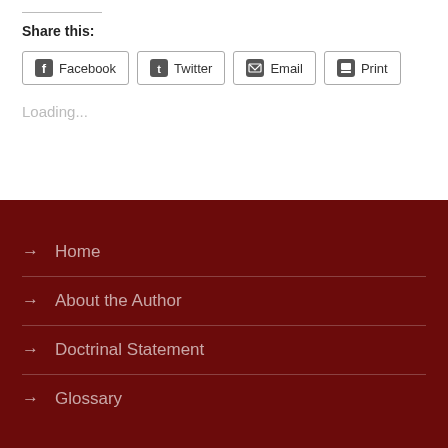Share this:
Facebook
Twitter
Email
Print
Loading...
→  Home
→  About the Author
→  Doctrinal Statement
→  Glossary